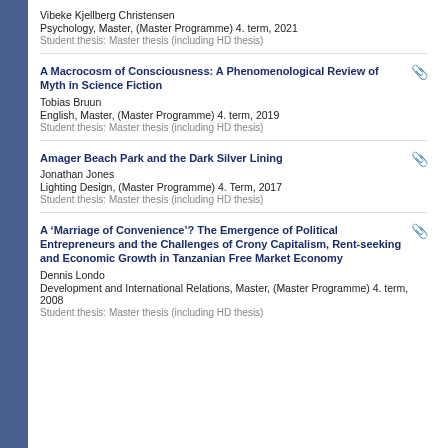Vibeke Kjellberg Christensen
Psychology, Master, (Master Programme) 4. term, 2021
Student thesis: Master thesis (including HD thesis)
A Macrocosm of Consciousness: A Phenomenological Review of Myth in Science Fiction
Tobias Bruun
English, Master, (Master Programme) 4. term, 2019
Student thesis: Master thesis (including HD thesis)
Amager Beach Park and the Dark Silver Lining
Jonathan Jones
Lighting Design, (Master Programme) 4. Term, 2017
Student thesis: Master thesis (including HD thesis)
A ‘Marriage of Convenience’? The Emergence of Political Entrepreneurs and the Challenges of Crony Capitalism, Rent-seeking and Economic Growth in Tanzanian Free Market Economy
Dennis Londo
Development and International Relations, Master, (Master Programme) 4. term, 2008
Student thesis: Master thesis (including HD thesis)